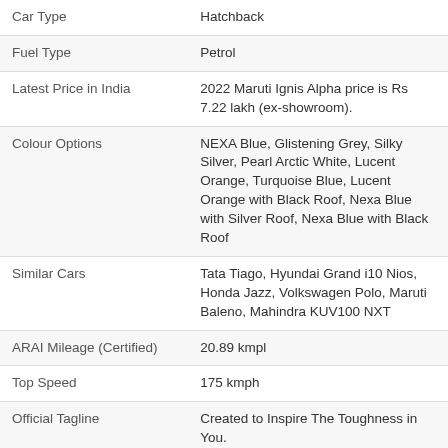| Attribute | Value |
| --- | --- |
| Car Type | Hatchback |
| Fuel Type | Petrol |
| Latest Price in India | 2022 Maruti Ignis Alpha price is Rs 7.22 lakh (ex-showroom). |
| Colour Options | NEXA Blue, Glistening Grey, Silky Silver, Pearl Arctic White, Lucent Orange, Turquoise Blue, Lucent Orange with Black Roof, Nexa Blue with Silver Roof, Nexa Blue with Black Roof |
| Similar Cars | Tata Tiago, Hyundai Grand i10 Nios, Honda Jazz, Volkswagen Polo, Maruti Baleno, Mahindra KUV100 NXT |
| ARAI Mileage (Certified) | 20.89 kmpl |
| Top Speed | 175 kmph |
| Official Tagline | Created to Inspire The Toughness in You. |
ENGINE & TRANSMISSION
| Attribute | Value |
| --- | --- |
| Engine cc (Displacement) | 1197 cc |